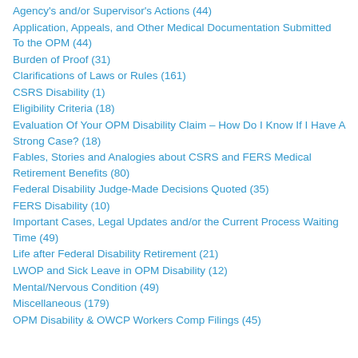Agency's and/or Supervisor's Actions (44)
Application, Appeals, and Other Medical Documentation Submitted To the OPM (44)
Burden of Proof (31)
Clarifications of Laws or Rules (161)
CSRS Disability (1)
Eligibility Criteria (18)
Evaluation Of Your OPM Disability Claim – How Do I Know If I Have A Strong Case? (18)
Fables, Stories and Analogies about CSRS and FERS Medical Retirement Benefits (80)
Federal Disability Judge-Made Decisions Quoted (35)
FERS Disability (10)
Important Cases, Legal Updates and/or the Current Process Waiting Time (49)
Life after Federal Disability Retirement (21)
LWOP and Sick Leave in OPM Disability (12)
Mental/Nervous Condition (49)
Miscellaneous (179)
OPM Disability & OWCP Workers Comp Filings (45)